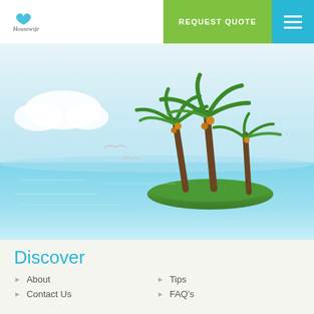[Figure (logo): Travel company logo with heart shape]
REQUEST QUOTE
[Figure (illustration): Tropical island scene with palm trees, ocean water, clouds and seagulls]
Discover
About
Tips
Contact Us
FAQ's